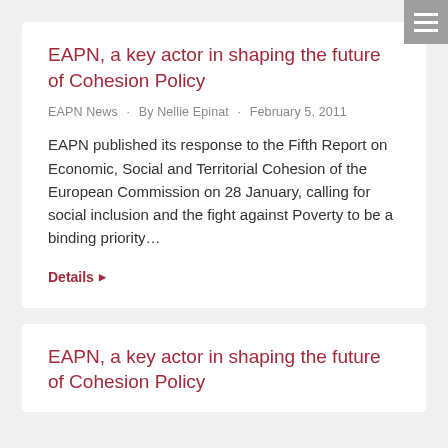EAPN, a key actor in shaping the future of Cohesion Policy
EAPN News · By Nellie Epinat · February 5, 2011
EAPN published its response to the Fifth Report on Economic, Social and Territorial Cohesion of the European Commission on 28 January, calling for social inclusion and the fight against Poverty to be a binding priority…
Details
EAPN, a key actor in shaping the future of Cohesion Policy